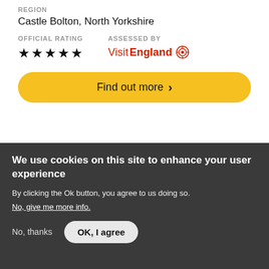REGION
Castle Bolton, North Yorkshire
OFFICIAL RATING
ASSESSED BY
★★★★★
VisitEngland
Find out more ›
[Figure (photo): Blue sky photograph background]
We use cookies on this site to enhance your user experience
By clicking the Ok button, you agree to us doing so.
No, give me more info.
No, thanks
OK, I agree